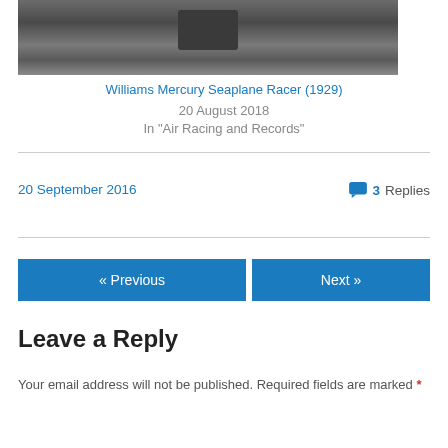[Figure (photo): Black and white photograph of a seaplane (Williams Mercury Seaplane Racer 1929) on water, showing the floats/pontoons and struts]
Williams Mercury Seaplane Racer (1929)
20 August 2018
In "Air Racing and Records"
20 September 2016
3 Replies
« Previous
Next »
Leave a Reply
Your email address will not be published. Required fields are marked *